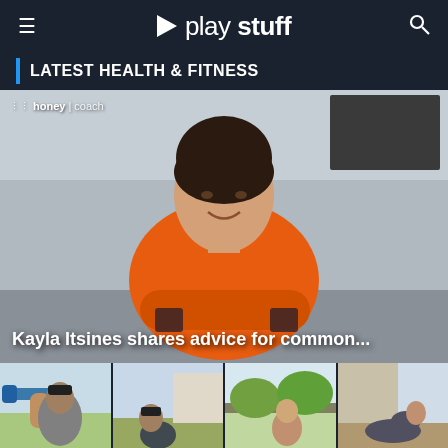play stuff
LATEST HEALTH & FITNESS
[Figure (screenshot): Video still of Kayla Itsines wearing an orange jacket, smiling at camera with arms crossed. honey | coach watermark in top left. Caption overlay reads: Kayla Itsines shares advice for common...]
[Figure (photo): Row of four thumbnail images: (1) man lifting blue dumbbells outdoors, (2) man doing outdoor exercise, (3) woman in garden/outdoor area, (4) person doing floor exercise indoors]